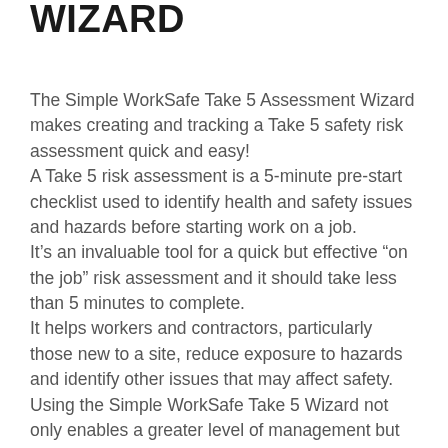TAKE 5 ASSESSMENT WIZARD
The Simple WorkSafe Take 5 Assessment Wizard makes creating and tracking a Take 5 safety risk assessment quick and easy!
A Take 5 risk assessment is a 5-minute pre-start checklist used to identify health and safety issues and hazards before starting work on a job.
It’s an invaluable tool for a quick but effective “on the job” risk assessment and it should take less than 5 minutes to complete.
It helps workers and contractors, particularly those new to a site, reduce exposure to hazards and identify other issues that may affect safety.
Using the Simple WorkSafe Take 5 Wizard not only enables a greater level of management but makes it easy for workers to generate Take 5 assessments from their mobile devices.